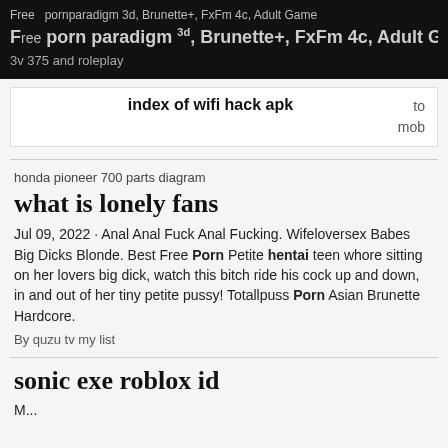Free porn paradigm 3d, Brunette+, FxFm 4c, Adult Game 3v 375 and roleplay
index of wifi hack apk   to mob
honda pioneer 700 parts diagram
what is lonely fans
Jul 09, 2022 · Anal Anal Fuck Anal Fucking. Wifeloversex Babes Big Dicks Blonde. Best Free Porn Petite hentai teen whore sitting on her lovers big dick, watch this bitch ride his cock up and down, in and out of her tiny petite pussy! Totallpuss Porn Asian Brunette Hardcore.
By quzu tv my list
sonic exe roblox id
M... ...dist...id 1 500...t...d f...a...hill...b...a... Ch...tt...t...d...